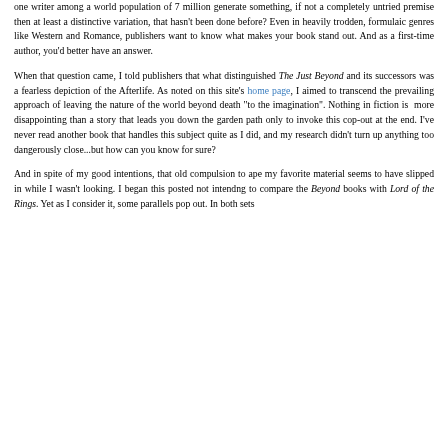one writer among a world population of 7 million generate something, if not a completely untried premise then at least a distinctive variation, that hasn't been done before? Even in heavily trodden, formulaic genres like Western and Romance, publishers want to know what makes your book stand out. And as a first-time author, you'd better have an answer.
When that question came, I told publishers that what distinguished The Just Beyond and its successors was a fearless depiction of the Afterlife. As noted on this site's home page, I aimed to transcend the prevailing approach of leaving the nature of the world beyond death "to the imagination". Nothing in fiction is more disappointing than a story that leads you down the garden path only to invoke this cop-out at the end. I've never read another book that handles this subject quite as I did, and my research didn't turn up anything too dangerously close...but how can you know for sure?
And in spite of my good intentions, that old compulsion to ape my favorite material seems to have slipped in while I wasn't looking. I began this posted not intendng to compare the Beyond books with Lord of the Rings. Yet as I consider it, some parallels pop out. In both sets